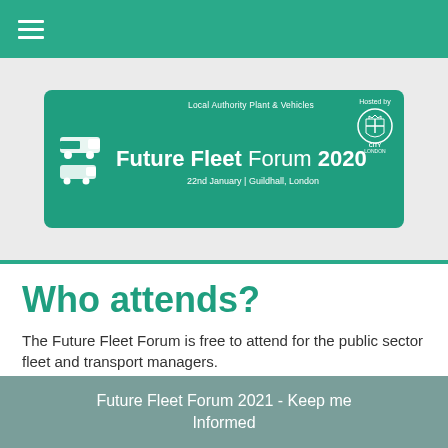Navigation menu bar with hamburger icon
[Figure (logo): Future Fleet Forum 2020 event banner on green background. Text reads: Local Authority Plant & Vehicles / Future Fleet Forum 2020 / 22nd January | Guildhall, London. Hosted by City of London. Includes truck/vehicle icons and City of London crest.]
Who attends?
The Future Fleet Forum is free to attend for the public sector fleet and transport managers.
Future Fleet Forum 2021 - Keep me Informed